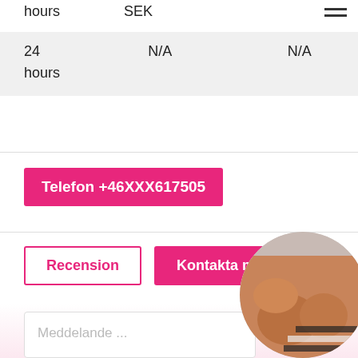hours   SEK
| 24 hours | N/A | N/A |
Telefon +46XXX617505
Recension
Kontakta mig
Meddelande ...
[Figure (photo): Circular cropped photo of a person]